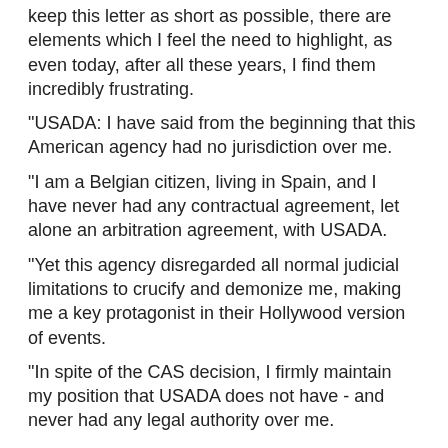keep this letter as short as possible, there are elements which I feel the need to highlight, as even today, after all these years, I find them incredibly frustrating.
"USADA: I have said from the beginning that this American agency had no jurisdiction over me.
"I am a Belgian citizen, living in Spain, and I have never had any contractual agreement, let alone an arbitration agreement, with USADA.
"Yet this agency disregarded all normal judicial limitations to crucify and demonize me, making me a key protagonist in their Hollywood version of events.
"In spite of the CAS decision, I firmly maintain my position that USADA does not have - and never had any legal authority over me.
"Thus, USADA never had the power to open a case against me, and less still any power to issue me with a ban of any duration."
[Figure (other): Block quote tweet embed with quotation marks, text 'Open Letter From Johan Bruyneel' and link 'pic.twitter.com/BvJDARqCYP']
— Johan Bruyneel (@JohanBruyneel) October 24